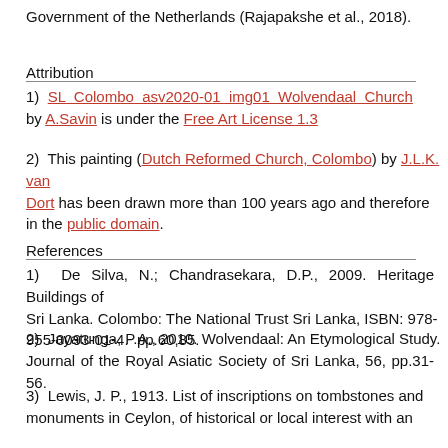Government of the Netherlands (Rajapakshe et al., 2018).
Attribution
1)  SL Colombo asv2020-01 img01 Wolvendaal Church by A.Savin is under the Free Art License 1.3
2)  This painting (Dutch Reformed Church, Colombo) by J.L.K. van Dort has been drawn more than 100 years ago and therefore in the public domain.
References
1) De Silva, N.; Chandrasekara, D.P., 2009. Heritage Buildings of Sri Lanka. Colombo: The National Trust Sri Lanka, ISBN: 978-955-0093-01-4.  pp.60,85.
2)  Jayatunga, P.A., 2010. Wolvendaal: An Etymological Study. Journal of the Royal Asiatic Society of Sri Lanka, 56, pp.31-56.
3)  Lewis, J. P., 1913. List of inscriptions on tombstones and monuments in Ceylon, of historical or local interest with an